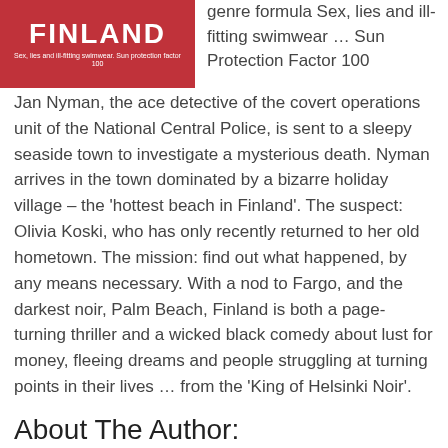[Figure (illustration): Book cover with red background showing 'FINLAND' in large white bold letters and subtitle 'Sex, lies and ill-fitting swimwear. Sun protection factor 100']
genre formula Sex, lies and ill-fitting swimwear … Sun Protection Factor 100
Jan Nyman, the ace detective of the covert operations unit of the National Central Police, is sent to a sleepy seaside town to investigate a mysterious death. Nyman arrives in the town dominated by a bizarre holiday village – the 'hottest beach in Finland'. The suspect: Olivia Koski, who has only recently returned to her old hometown. The mission: find out what happened, by any means necessary. With a nod to Fargo, and the darkest noir, Palm Beach, Finland is both a page-turning thriller and a wicked black comedy about lust for money, fleeing dreams and people struggling at turning points in their lives … from the 'King of Helsinki Noir'.
About The Author:
[Figure (photo): Partial author photo showing a person, cropped at bottom of page]
Finnish Antti Tuomainen